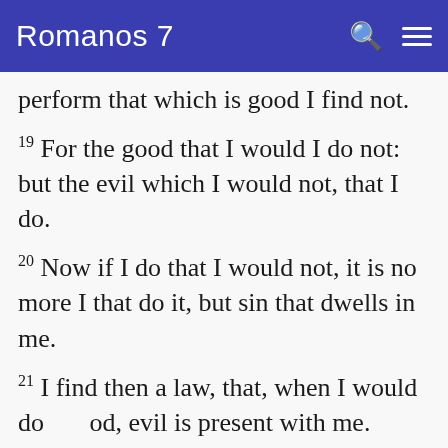Romanos 7
perform that which is good I find not.
19 For the good that I would I do not: but the evil which I would not, that I do.
20 Now if I do that I would not, it is no more I that do it, but sin that dwells in me.
21 I find then a law, that, when I would do good, evil is present with me.
22 For I delight in the law of God after the inward man:
23 But I see another law in my members,